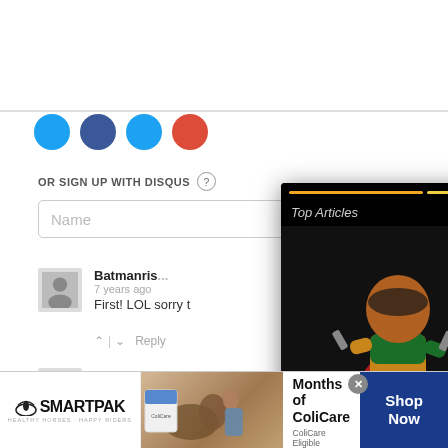[Figure (screenshot): Social login buttons row (Twitter, Facebook, Twitter, Google+)]
OR SIGN UP WITH DISQUS ?
Name
[Figure (screenshot): Top Articles popup overlay showing Iron Studios Batman figurines (Robin, Batman, Riddler). Has progress bar segments, Top Articles header, close X button, dots menu, pause button, mute icon, orange arrow button. Caption reads: Iron Studios announcesne...]
[Figure (photo): User avatar placeholder for Batmanri comment]
Batmanris
7 years ago
First! LOL sorry t
^ | v  Reply
[Figure (photo): User avatar placeholder for BTW comment]
BTW
7 years ago
What about the r
^ | v  Reply
[Figure (screenshot): SmartPak advertisement banner. 50% Off Two Months of ColiCare. ColiCare Eligible Supplements. CODE: COLICARE10. Shop Now button.]